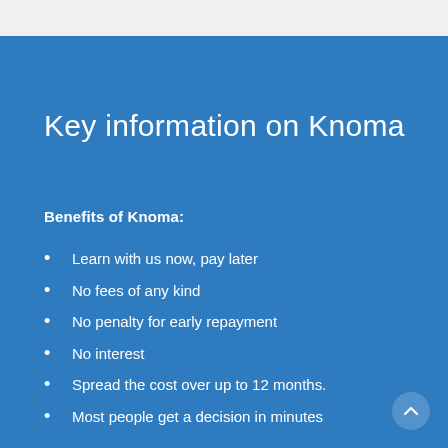Key information on Knoma
Benefits of Knoma:
Learn with us now, pay later
No fees of any kind
No penalty for early repayment
No interest
Spread the cost over up to 12 months.
Most people get a decision in minutes